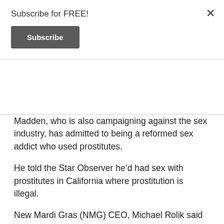Subscribe for FREE!
Subscribe
Madden, who is also campaigning against the sex industry, has admitted to being a reformed sex addict who used prostitutes.
He told the Star Observer he'd had sex with prostitutes in California where prostitution is illegal.
New Mardi Gras (NMG) CEO, Michael Rolik said Madden's parade plan was bad for business.
“It would have a negative effect on the economy,” Rolik said. “The whole point of the event is that it’s an outdoor festival that promotes and celebrates the visibility of our community.